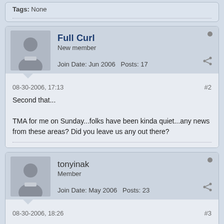Tags: None
Full Curl
New member
Join Date: Jun 2006  Posts: 17
08-30-2006, 17:13
#2
Second that...
TMA for me on Sunday...folks have been kinda quiet...any news from these areas? Did you leave us any out there?
tonyinak
Member
Join Date: May 2006  Posts: 23
08-30-2006, 18:26
#3